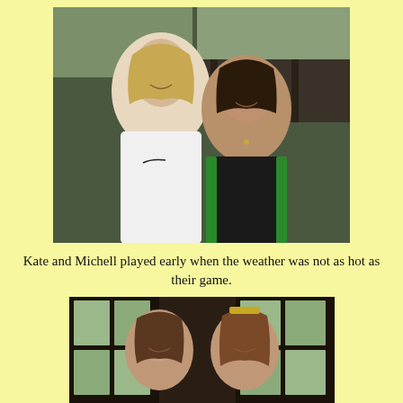[Figure (photo): Two women smiling and posing together outdoors. The woman on the left wears a white Nike athletic top, the woman on the right wears a black and green athletic top. Background shows a wooden fence/deck and trees.]
Kate and Michell played early when the weather was not as hot as their game.
[Figure (photo): Two women smiling indoors, one with sunglasses on her head, photographed from the torso up with windows visible in the background.]